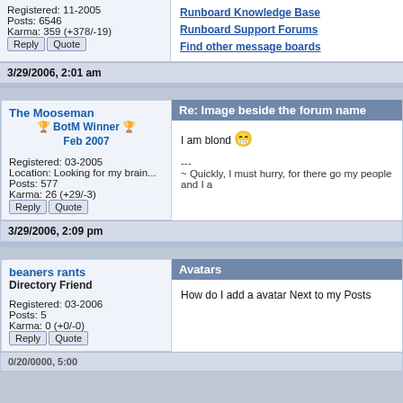Registered: 11-2005
Posts: 6546
Karma: 359 (+378/-19)
Runboard Knowledge Base
Runboard Support Forums
Find other message boards
3/29/2006, 2:01 am
Re: Image beside the forum name
The Mooseman
BotM Winner Feb 2007
Registered: 03-2005
Location: Looking for my brain...
Posts: 577
Karma: 26 (+29/-3)
I am blond 😁
---
~ Quickly, I must hurry, for there go my people and I a
3/29/2006, 2:09 pm
Avatars
beaners rants
Directory Friend
Registered: 03-2006
Posts: 5
Karma: 0 (+0/-0)
How do I add a avatar Next to my Posts